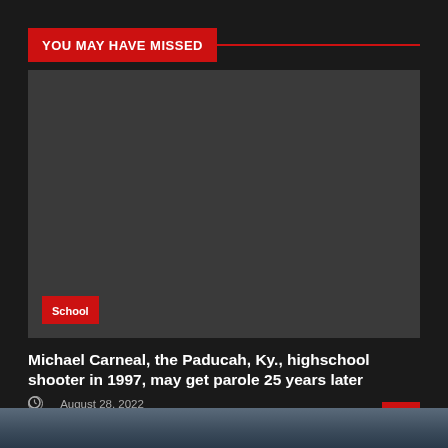YOU MAY HAVE MISSED
[Figure (photo): Dark gray placeholder image with a red 'School' category badge in the lower left corner]
Michael Carneal, the Paducah, Ky., highschool shooter in 1997, may get parole 25 years later
August 28, 2022
[Figure (photo): Partial bottom strip of an outdoor photo showing trees against a twilight sky]